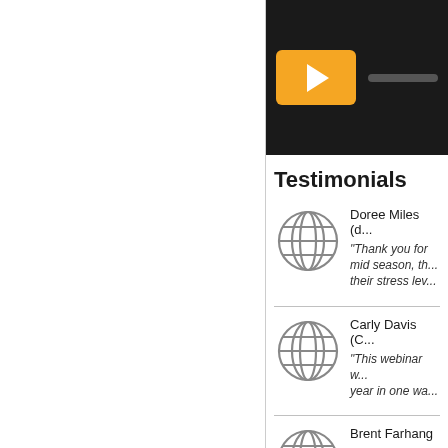[Figure (screenshot): Video player with orange play button and dark progress bar on black background]
Testimonials
Doree Miles (d...
"Thank you for... mid season, th... their stress lev..."
Carly Davis (C...
"This webinar w... year in one wa..."
Brent Farhang
"Amber Selter ..."